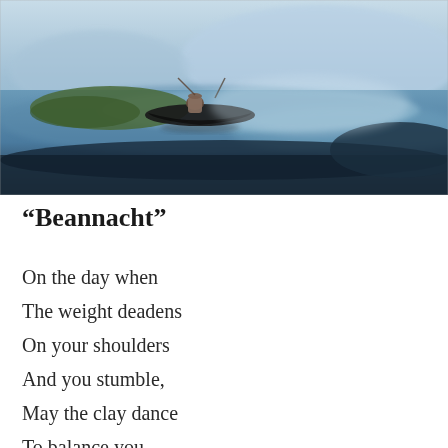[Figure (illustration): Watercolor painting of a figure sitting in a dark wooden boat on blue water, viewed from behind. The scene is misty and impressionistic with blues, greens, and dark tones.]
“Beannacht”
On the day when
The weight deadens
On your shoulders
And you stumble,
May the clay dance
To balance you.